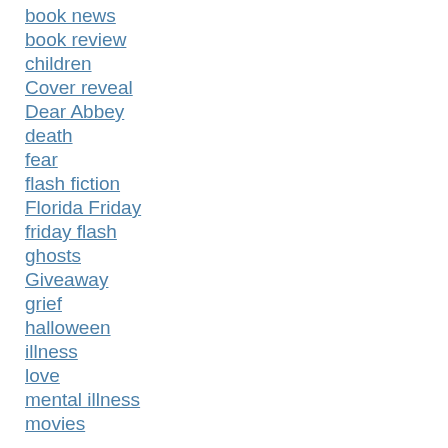book news
book review
children
Cover reveal
Dear Abbey
death
fear
flash fiction
Florida Friday
friday flash
ghosts
Giveaway
grief
halloween
illness
love
mental illness
movies